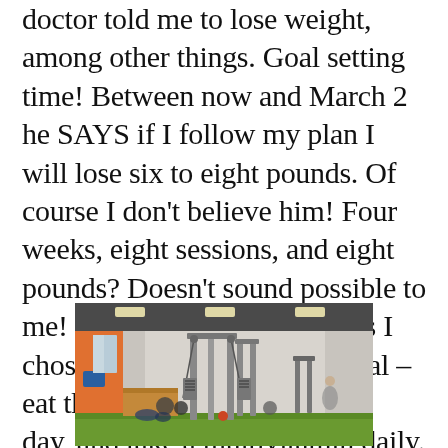doctor told me to lose weight, among other things. Goal setting time! Between now and March 2 he SAYS if I follow my plan I will lose six to eight pounds. Of course I don't believe him! Four weeks, eight sessions, and eight pounds? Doesn't sound possible to me! So we will see! The goals I chose for myself are nutritional – eat three servings of fruits per day, and take a multivitamin daily.
[Figure (photo): Interior of a fitness/gym facility showing cable machine equipment in the foreground, exercise balls and weights in background, green turf floor, orange accent wall on the left, bright ceiling lights.]